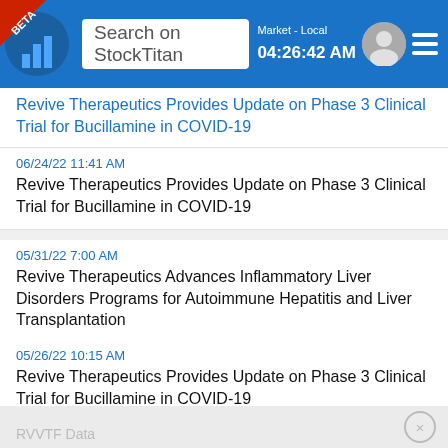Search on StockTitan | Market - Local 04:26:42 AM
Revive Therapeutics Provides Update on Phase 3 Clinical Trial for Bucillamine in COVID-19
06/24/22 11:41 AM
Revive Therapeutics Provides Update on Phase 3 Clinical Trial for Bucillamine in COVID-19
05/31/22 7:00 AM
Revive Therapeutics Advances Inflammatory Liver Disorders Programs for Autoimmune Hepatitis and Liver Transplantation
05/26/22 10:15 AM
Revive Therapeutics Provides Update on Phase 3 Clinical Trial for Bucillamine in COVID-19
Rhea-Ai
More info
[Figure (infographic): Five circular sentiment rating icons (thumbs up strong, thumbs up, thumbs sideways highlighted/selected, thumbs down, thumbs down strong) indicating NEUTRAL sentiment rating]
NEUTRAL
RVVTF Data